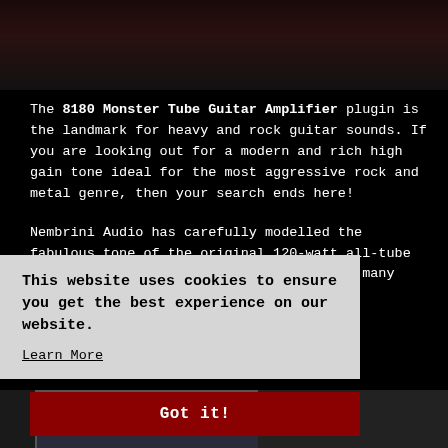[Figure (screenshot): Dark reddish-brown gradient background image at top of page, partially visible product/scene photo]
The 8180 Monster Tube Guitar Amplifier plugin is the landmark for heavy and rock guitar sounds. If you are looking out for a modern and rich high gain tone ideal for the most aggressive rock and metal genre, then your search ends here!
Nembrini Audio has carefully modelled the fabulous tone of the original 120-watt all-tube American guitar head still used today by many guitar gods all around the world.
This website uses cookies to ensure you get the best experience on our website.
Learn More
Got it!
[Figure (screenshot): Bottom portion showing the 8180 guitar amplifier plugin interface with knobs and controls, model number 8180 visible]